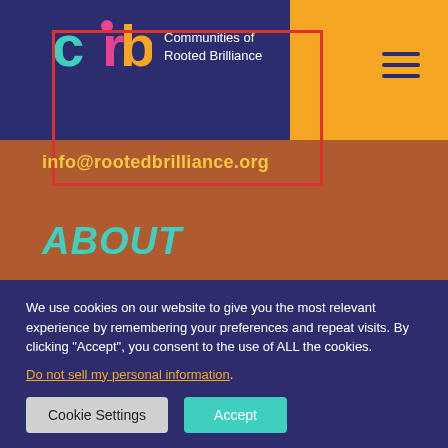[Figure (logo): Communities of Rooted Brilliance logo with colorful 'crb' letters on navy background]
info@rootedbrilliance.org
ABOUT
Our Story
Staff and Board
We use cookies on our website to give you the most relevant experience by remembering your preferences and repeat visits. By clicking “Accept”, you consent to the use of ALL the cookies.
Do not sell my personal information.